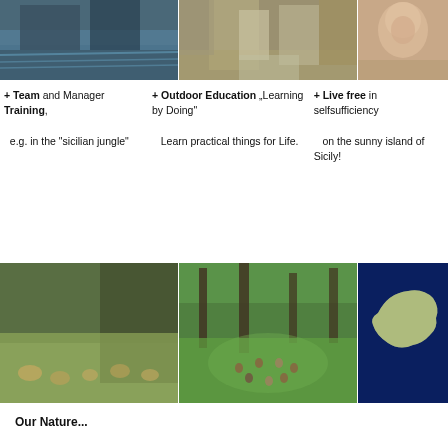[Figure (photo): Three photos at top: lake/water scene, rocky waterfall, person close-up]
+ Team and Manager Training,
  e.g. in the "sicilian jungle"
+ Outdoor Education "Learning by Doing"
  Learn practical things for Life.
+ Live free in selfsufficiency
  on the sunny island of Sicily!
[Figure (photo): Three photos at bottom: group activity in mountain meadow, circle of people in forest, satellite view of Sicily island]
Our Nature...